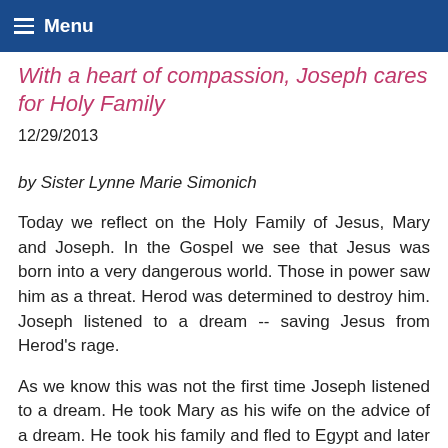Menu
With a heart of compassion, Joseph cares for Holy Family
12/29/2013
by Sister Lynne Marie Simonich
Today we reflect on the Holy Family of Jesus, Mary and Joseph. In the Gospel we see that Jesus was born into a very dangerous world. Those in power saw him as a threat. Herod was determined to destroy him. Joseph listened to a dream -- saving Jesus from Herod's rage.
As we know this was not the first time Joseph listened to a dream. He took Mary as his wife on the advice of a dream. He took his family and fled to Egypt and later settled in Nazaroth because of a dream. Joseph would